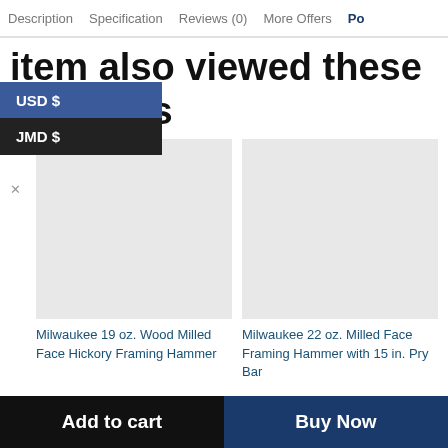Description  Specification  Reviews (0)  More Offers  Po
item also viewed these products
USD $
JMD $
[Figure (photo): Grey placeholder image for Milwaukee 19 oz. Wood Milled Face Hickory Framing Hammer]
Milwaukee 19 oz. Wood Milled Face Hickory Framing Hammer
[Figure (photo): Grey placeholder image for Milwaukee 22 oz. Milled Face Framing Hammer with 15 in. Pry Bar]
Milwaukee 22 oz. Milled Face Framing Hammer with 15 in. Pry Bar
Add to cart  Buy Now